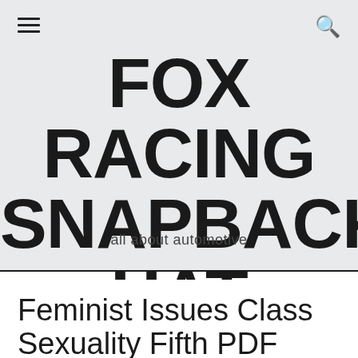FOX RACING SNAPBACKS HAT
all about automotive
Feminist Issues Class Sexuality Fifth PDF